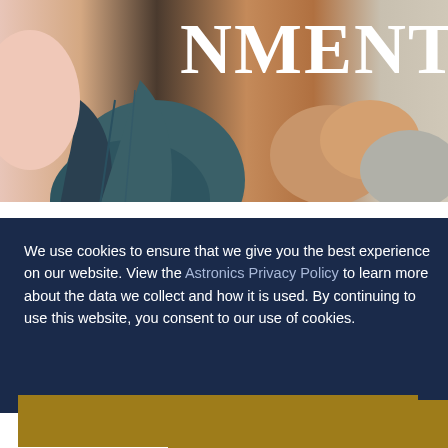[Figure (photo): Close-up photograph of people's hands or arms in a group, showing skin of different tones and clothing in teal/green and grey colors]
NMENT
We use cookies to ensure that we give you the best experience on our website. View the Astronics Privacy Policy to learn more about the data we collect and how it is used. By continuing to use this website, you consent to our use of cookies.
Got it!